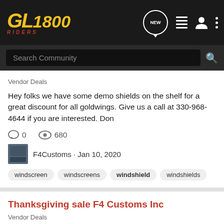GL1800 Riders
Vendor Deals
Hey folks we have some demo shields on the shelf for a great discount for all goldwings. Give us a call at 330-968-4644 if you are interested. Don
0  680  F4Customs · Jan 10, 2020
windscreen  windscreens  windshield  windshields
Thanksgiving sale F4 Customs Inc
Vendor Deals
F4 Customs Inc is having a Thanksgiving and Black Friday sale rolled up in one. The dates are 11/25/2019 through